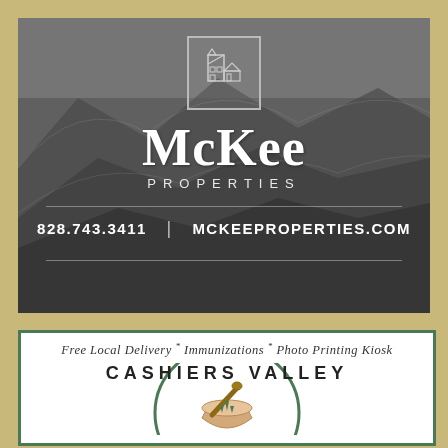[Figure (logo): McKee Properties advertisement with mountain landscape background, building logo icon, company name 'McKee Properties', phone number 828.743.3411 and website MCKEEPROPERTIES.COM]
[Figure (logo): Cashiers Valley pharmacy advertisement with green border, tagline 'Free Local Delivery * Immunizations * Photo Printing Kiosk', and Cashiers Valley logo with mortar and pestle]